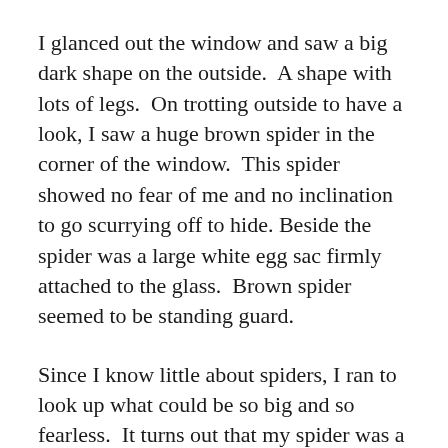I glanced out the window and saw a big dark shape on the outside.  A shape with lots of legs.  On trotting outside to have a look, I saw a huge brown spider in the corner of the window.  This spider showed no fear of me and no inclination to go scurrying off to hide. Beside the spider was a large white egg sac firmly attached to the glass.  Brown spider seemed to be standing guard.
Since I know little about spiders, I ran to look up what could be so big and so fearless.  It turns out that my spider was a wolf spider. And, scary as she looked, the info said she was quite harmless, though she could bite handily if threatened. She is called a wolf spider  because